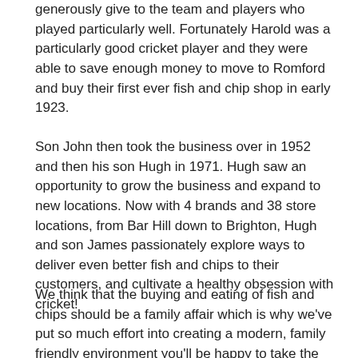generously give to the team and players who played particularly well. Fortunately Harold was a particularly good cricket player and they were able to save enough money to move to Romford and buy their first ever fish and chip shop in early 1923.
Son John then took the business over in 1952 and then his son Hugh in 1971. Hugh saw an opportunity to grow the business and expand to new locations. Now with 4 brands and 38 store locations, from Bar Hill down to Brighton, Hugh and son James passionately explore ways to deliver even better fish and chips to their customers, and cultivate a healthy obsession with cricket!
We think that the buying and eating of fish and chips should be a family affair which is why we've put so much effort into creating a modern, family friendly environment you'll be happy to take the kids to. By bringing together our 90 years of experience with the best raw ingredients, sustainable processes, time tested preparation and well trained passionate staff, we aim to provide our customers with the absolute tastiest of dishes every time they visit!